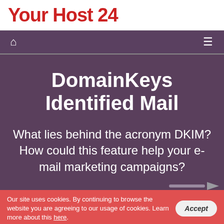Your Host 24
DomainKeys Identified Mail
What lies behind the acronym DKIM? How could this feature help your e-mail marketing campaigns?
Our site uses cookies. By continuing to browse the website you are agreeing to our usage of cookies. Learn more about this here.